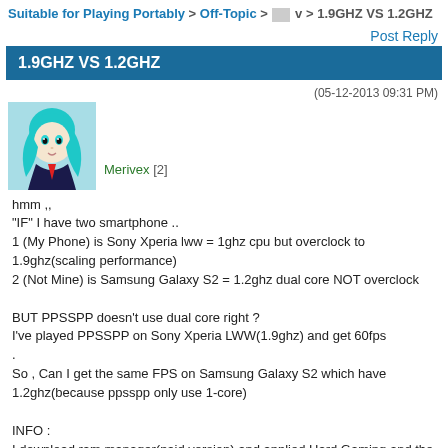Suitable for Playing Portably > Off-Topic > v > 1.9GHZ VS 1.2GHZ
Post Reply
1.9GHZ VS 1.2GHZ
(05-12-2013 09:31 PM)
Merivex [2]
hmm ,, "IF" I have two smartphone .. 1 (My Phone) is Sony Xperia lww = 1ghz cpu but overclock to 1.9ghz(scaling performance) 2 (Not Mine) is Samsung Galaxy S2 = 1.2ghz dual core NOT overclock

BUT PPSSPP doesn't use dual core right ? I've played PPSSPP on Sony Xperia LWW(1.9ghz) and get 60fps . So , Can I get the same FPS on Samsung Galaxy S2 which have 1.2ghz(because ppsspp only use 1-core)

INFO : I download ram manager(paid version) and applied Hard Gaming and the game is smooth like hell 😜 .. ups ⚠️ Like Heaven